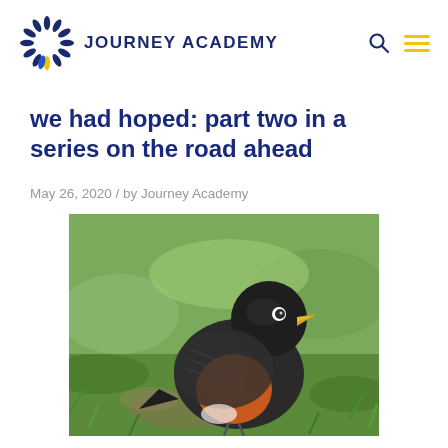Journey Academy
we had hoped: part two in a series on the road ahead
May 26, 2020 / by Journey Academy
[Figure (photo): Close-up photograph of an American robin bird standing on grass, showing its dark grey-black head and back, orange-red breast, and yellow beak, with a blurred green grass background.]